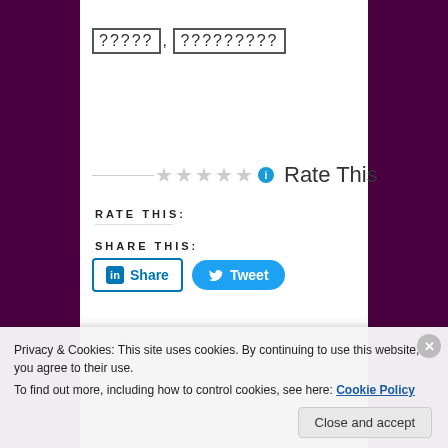?????, ?????????
[Figure (other): Five empty star rating widgets with info circle icon and large 'Rate This' text]
RATE THIS:
SHARE THIS:
[Figure (other): LinkedIn Share button and Twitter Tweet button]
Loading...
Privacy & Cookies: This site uses cookies. By continuing to use this website, you agree to their use. To find out more, including how to control cookies, see here: Cookie Policy
Close and accept